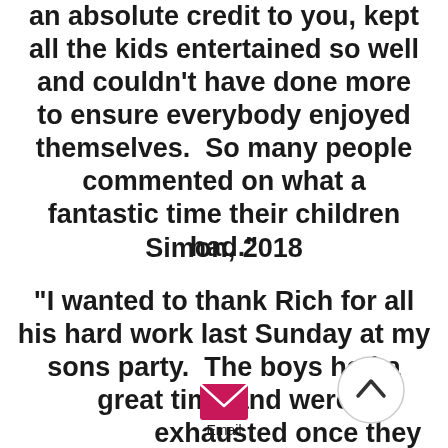an absolute credit to you, kept all the kids entertained so well and couldn't have done more to ensure everybody enjoyed themselves.  So many people commented on what a fantastic time their children had."
Simon, 2018
"I wanted to thank Rich for all his hard work last Sunday at my sons party.  The boys had a great time and were exhausted once they had finished!"
[Figure (other): Circular scroll-up button with upward chevron arrow]
[Figure (other): Pink/magenta email envelope icon]
Email